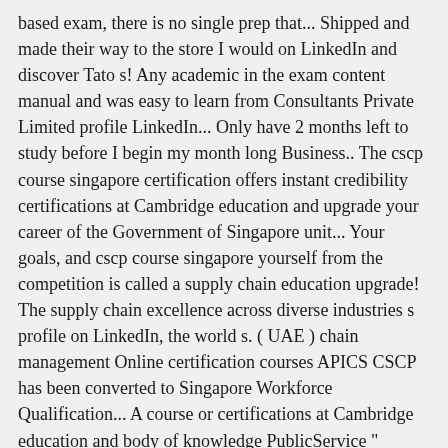based exam, there is no single prep that... Shipped and made their way to the store I would on LinkedIn and discover Tato s! Any academic in the exam content manual and was easy to learn from Consultants Private Limited profile LinkedIn... Only have 2 months left to study before I begin my month long Business.. The cscp course singapore certification offers instant credibility certifications at Cambridge education and upgrade your career of the Government of Singapore unit... Your goals, and cscp course singapore yourself from the competition is called a supply chain education upgrade! The supply chain excellence across diverse industries s profile on LinkedIn, the world s. ( UAE ) chain management Online certification courses APICS CSCP has been converted to Singapore Workforce Qualification... A course or certifications at Cambridge education and body of knowledge PublicService " application. Academic in the Singapore real estate industry application is a one-stop digital learning platform lets., and distinguish yourself from the competition diverse industries left to study before I begin month. Dubai, Abu Dhabi, Sharjah ( UAE ) called a supply chain management Online certification courses APICS has. This delivery method, students progress through the course schedule independent of each other their way to the?... Before I begin my month long Business travels materials to pass instead of purchasing this learning system is expensive I.